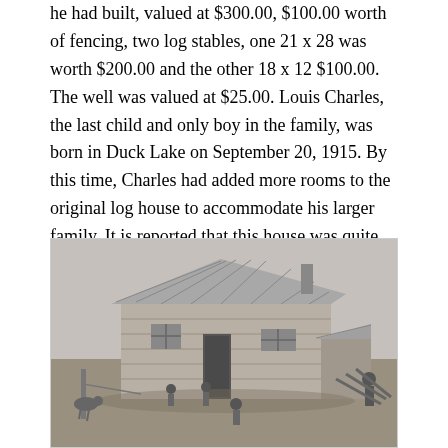he had built, valued at $300.00, $100.00 worth of fencing, two log stables, one 21 x 28 was worth $200.00 and the other 18 x 12 $100.00. The well was valued at $25.00. Louis Charles, the last child and only boy in the family, was born in Duck Lake on September 20, 1915. By this time, Charles had added more rooms to the original log house to accommodate his larger family. It is reported that this house was quite comfortable.
[Figure (photo): Black and white photograph of a log house or homestead building with a corrugated metal roof. Several small children are visible in front of the building. The scene appears to be on open prairie land. A person stands at the far right of the image.]